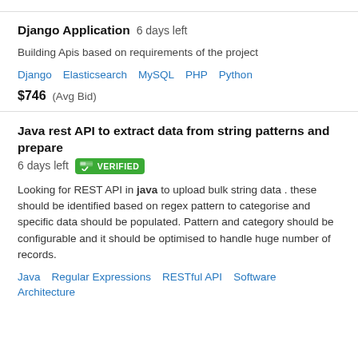Django Application  6 days left
Building Apis based on requirements of the project
Django   Elasticsearch   MySQL   PHP   Python
$746  (Avg Bid)
Java rest API to extract data from string patterns and prepare  6 days left  VERIFIED
Looking for REST API in java to upload bulk string data . these should be identified based on regex pattern to categorise and specific data should be populated. Pattern and category should be configurable and it should be optimised to handle huge number of records.
Java   Regular Expressions   RESTful API   Software Architecture